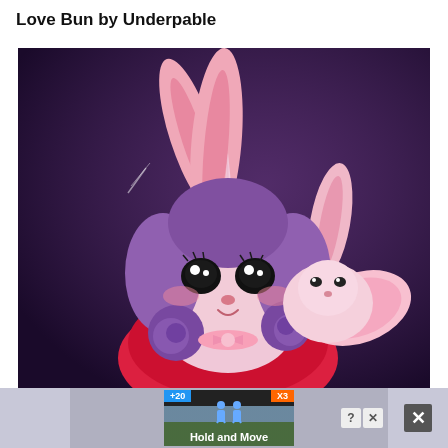Love Bun by Underpable
[Figure (illustration): Digital fan art illustration of a pony character with long pink bunny ears, purple curly hair, a horn, small pink wings, dark eyes with white highlights, pink bow tie/collar, wearing a red outfit, depicted against a dark purple background. Art by Underpable.]
[Figure (screenshot): Advertisement overlay showing a video ad for 'Hold and Move' app/game. The ad has blue and orange top buttons, two stick figure icons, trees in background, and a question mark and X close button. A grey X close button appears on the far right.]